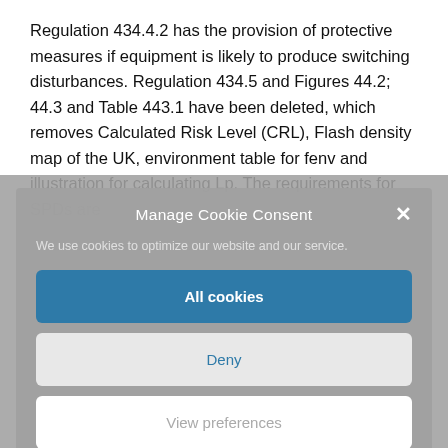Regulation 434.4.2 has the provision of protective measures if equipment is likely to produce switching disturbances. Regulation 434.5 and Figures 44.2; 44.3 and Table 443.1 have been deleted, which removes Calculated Risk Level (CRL), Flash density map of the UK, environment table for fenv and illustration for calculating Lp. The requirements for SPDs are
Manage Cookie Consent
We use cookies to optimize our website and our service.
All cookies
Deny
View preferences
Cookie policy